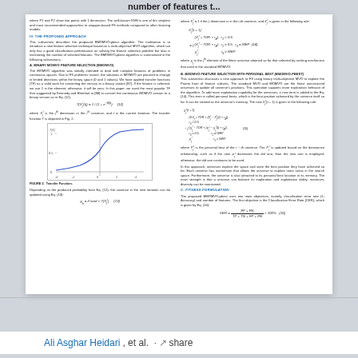number of features t...
where P1 and P2 show two points with 1 dimension. The well-known KNN is one of the simplest and most recommended approaches to wrapper-based FS methods compared to other learning models.
IV. THE PROPOSED APPROACH
This subsection describes the proposed BMOMVO-pbest algorithm. The motivation is to introduce a new feature selection technique based on a multi-objective MVO algorithm, which not only has a good classification performance on solving the feature selection problem but also is minimizing the number of selected features. The BMOMVO-pbest algorithm is summarized in the following subsections.
A. BINARY MOMVO FEATURE SELECTION (BMOMVO)
The MOMVO algorithm was initially intended to deal with complex features of problems in continuous spaces. Due to FS problems' nature, the solutions in MOMVO are planned to change in limited directions within the binary space (0 and 1 values). We have applied transfer functions (TF) as a valid work for converting the version to a binary variant [87]. If the feature is selected, we use 1 in the element; otherwise, it will be zero. In this paper, we used the most popular TF that suggested by Kennedy and Eberhart in [88] to convert the continuous MOMVO version to a binary version as in Eq. (12).
where X_j^i is the j-th dimension in the i-th universe, and t is the current iteration. The transfer function T is depicted in Fig. 2.
[Figure (continuous-plot): Sigmoid transfer function curve, S-shaped, x-axis from -4 to 4, y-axis from 0 to 1]
FIGURE 2. Transfer Function.
Depending on the produced probability from Eq. (12), the universe in the next iteration can be updated using Eq. (13):
where X_j^i = 1 if the j' dimension is in the i-th universe, and X_j^i is given in the following rule:
where X_j is the j-th element of the fittest universe attained so far that selected by ranking mechanism that used in the standard MOMVO.
B. BMOMVO FEATURE SELECTION WITH PERSONAL BEST (BMOMVO-PBEST)
This subsection discusses a new approach to FS using binary multi-objective MVO to explore the Pareto front of feature subsets. The standard MVO and MOMVO are the finest uninstructed universes to update all universe's positions. This operation supports more exploration behavior of the algorithm. To add more exploitation capability for the universes, a new term is added to the Eq. (14). This term is called personal bests, which is the best position achieved by the universe itself so far. It can be viewed as the universe's memory. The new X_j^i(t+1) is given in the following rule:
where P_j^i is the personal best of the i-th universe. The P_j^i is updated based on the dominance relationship, such as if the new P_j^i dominates the old one, than the new one is employed; otherwise, the old one continues to be used.
In this approach, universes explore the space and store the best position they have achieved so far. Each universe has momentum that allows the universe to explore more areas in the search space. Furthermore, the universe is also attracted to its personal best location in its memory. The main strength is that a universe can balance its exploration and exploitation ability; moreover, diversity can be maintained.
C. FITNESS FORMULATION
The proposed BMOMVO-pbest uses two main objectives, namely, classification error rate (1-Accuracy) and number of features. The first objective is the Classification Error Rate (CER), which is given by Eq. (16):
Ali Asghar Heidari, et al. · share